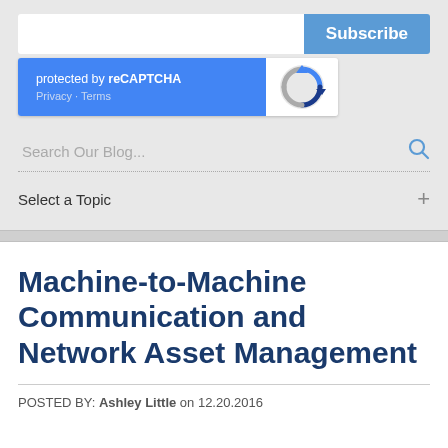[Figure (screenshot): Subscribe form with email input and blue Subscribe button, reCAPTCHA widget showing 'protected by reCAPTCHA' with Privacy and Terms links on blue background and reCAPTCHA logo, search bar reading 'Search Our Blog...' with magnifying glass icon, and 'Select a Topic' dropdown with plus sign]
Machine-to-Machine Communication and Network Asset Management
POSTED BY: Ashley Little on 12.20.2016